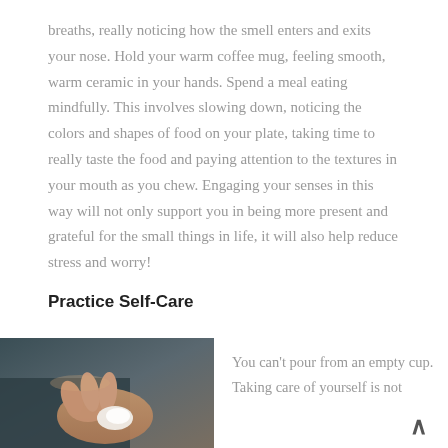breaths, really noticing how the smell enters and exits your nose.  Hold your warm coffee mug, feeling smooth, warm ceramic in your hands.  Spend a meal eating mindfully. This involves slowing down, noticing the colors and shapes of food on your plate, taking time to really taste the food and paying attention to the textures in your mouth as you chew.  Engaging your senses in this way will not only support you in being more present and grateful for the small things in life, it will also help reduce stress and worry!
Practice Self-Care
[Figure (photo): Close-up photograph of a person's hands, dark background, person appears to be pressing fingers together or holding a white object, muted teal and warm skin-tone colors]
You can't pour from an empty cup.  Taking care of yourself is not